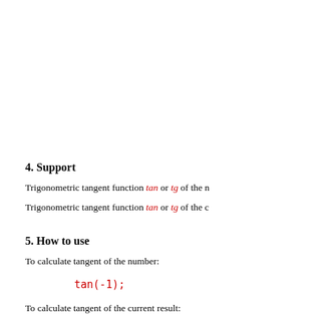4. Support
Trigonometric tangent function tan or tg of the n
Trigonometric tangent function tan or tg of the c
5. How to use
To calculate tangent of the number:
To calculate tangent of the current result: